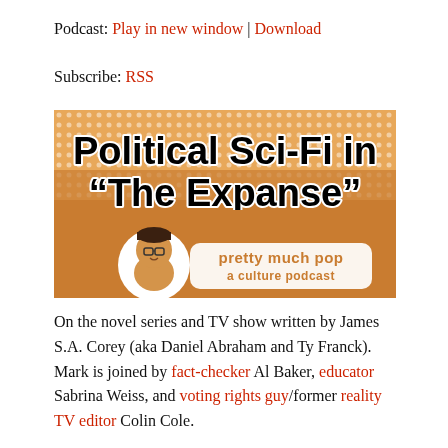Podcast: Play in new window | Download
Subscribe: RSS
[Figure (illustration): Banner image for 'Political Sci-Fi in "The Expanse"' episode of 'pretty much pop: a culture podcast'. Brown/orange halftone background with large bold black text reading 'Political Sci-Fi in "The Expanse"' and a cartoon illustration of a character with glasses, with white rounded text 'pretty much pop a culture podcast' below.]
On the novel series and TV show written by James S.A. Corey (aka Daniel Abraham and Ty Franck). Mark is joined by fact-checker Al Baker, educator Sabrina Weiss, and voting rights guy/former reality TV editor Colin Cole.